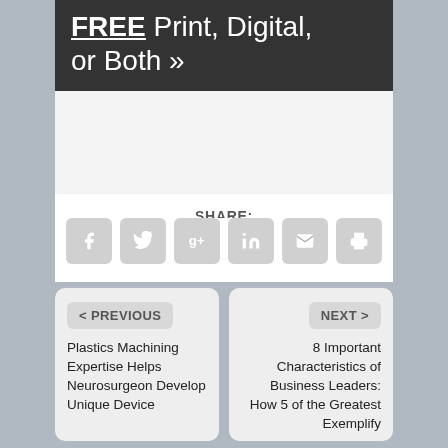[Figure (other): Dark banner with text: FREE Print, Digital, or Both »]
SHARE:
[Figure (infographic): Row of social sharing icons: Facebook, Twitter, Google+, LinkedIn, Email, Print]
< PREVIOUS
Plastics Machining Expertise Helps Neurosurgeon Develop Unique Device
NEXT >
8 Important Characteristics of Business Leaders: How 5 of the Greatest Exemplify